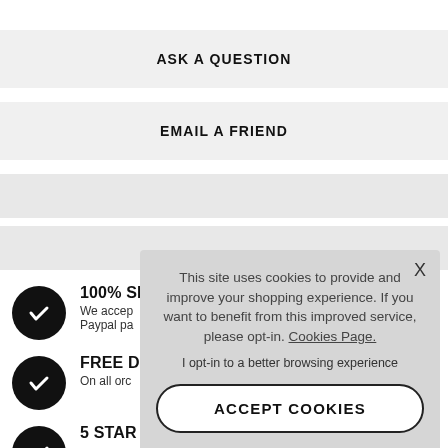ASK A QUESTION
EMAIL A FRIEND
100% SI... We accep... Paypal pa...
FREE D... On all orc...
5 STAR SERVICE
This site uses cookies to provide and improve your shopping experience. If you want to benefit from this improved service, please opt-in. Cookies Page.
I opt-in to a better browsing experience
ACCEPT COOKIES